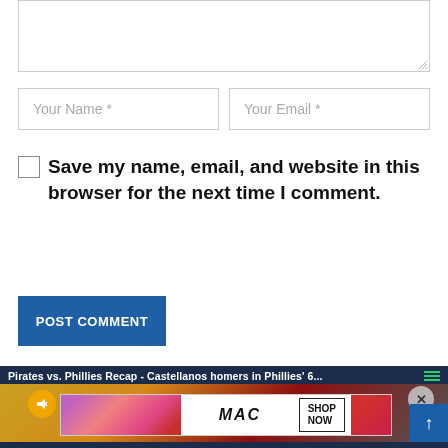[Figure (screenshot): Textarea form field (empty, with resize handle at bottom-right)]
[Figure (screenshot): Two input fields side by side: 'Your Name *' and 'Your Email *']
Save my name, email, and website in this browser for the next time I comment.
[Figure (screenshot): Blue 'POST COMMENT' button]
[Figure (screenshot): Video/ad banner: 'Pirates vs. Phillies Recap - Castellanos homers in Phillies' 6...' with MAC cosmetics advertisement overlay showing lipsticks and 'SHOP NOW' button, mute button (yellow circle), close button (X), and scroll-to-top arrow button (blue, bottom-right)]